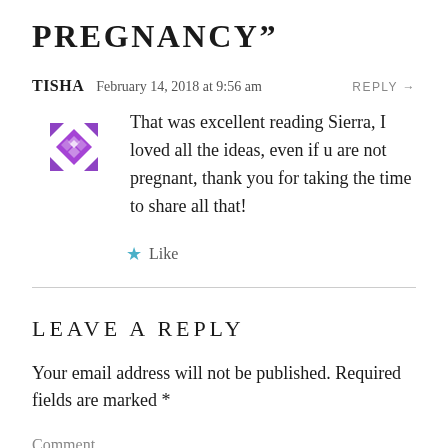PREGNANCY”
TISHA   February 14, 2018 at 9:56 am   REPLY →
[Figure (illustration): Purple geometric diamond/snowflake avatar icon made of interlocking diamond shapes]
That was excellent reading Sierra, I loved all the ideas, even if u are not pregnant, thank you for taking the time to share all that!
★ Like
LEAVE A REPLY
Your email address will not be published. Required fields are marked *
Comment